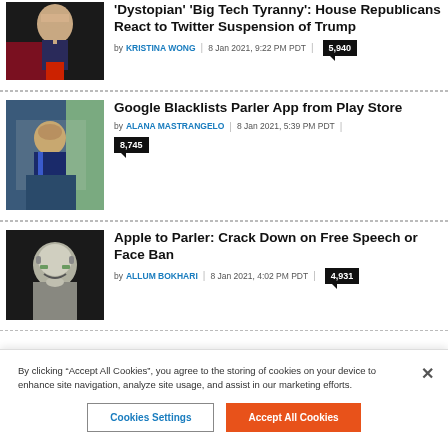[Figure (photo): Trump speaking at podium with dark background and red accent]
'Dystopian' 'Big Tech Tyranny': House Republicans React to Twitter Suspension of Trump
by KRISTINA WONG | 8 Jan 2021, 9:22 PM PDT | 5,940
[Figure (photo): Sundar Pichai (Google CEO) testifying, on screen/monitor, suit and tie]
Google Blacklists Parler App from Play Store
by ALANA MASTRANGELO | 8 Jan 2021, 5:39 PM PDT | 8,745
[Figure (photo): Tim Cook (Apple CEO) smiling, wearing glasses, dark background]
Apple to Parler: Crack Down on Free Speech or Face Ban
by ALLUM BOKHARI | 8 Jan 2021, 4:02 PM PDT | 4,931
By clicking "Accept All Cookies", you agree to the storing of cookies on your device to enhance site navigation, analyze site usage, and assist in our marketing efforts.
Cookies Settings | Accept All Cookies